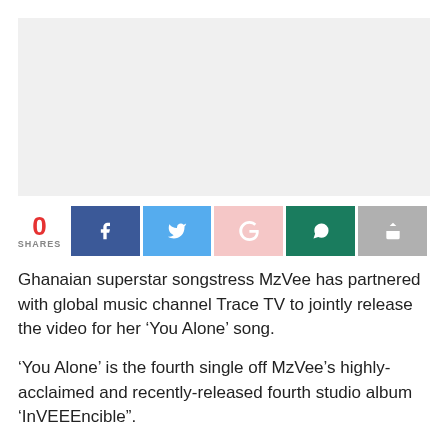[Figure (photo): Light gray image placeholder rectangle at the top of the page]
0 SHARES — Social share bar with Facebook, Twitter, Google+, WhatsApp, and share buttons
Ghanaian superstar songstress MzVee has partnered with global music channel Trace TV to jointly release the video for her ‘You Alone’ song.
‘You Alone’ is the fourth single off MzVee’s highly-acclaimed and recently-released fourth studio album ‘InVEEEncible”.
As part of the partnership, Vee has been made an